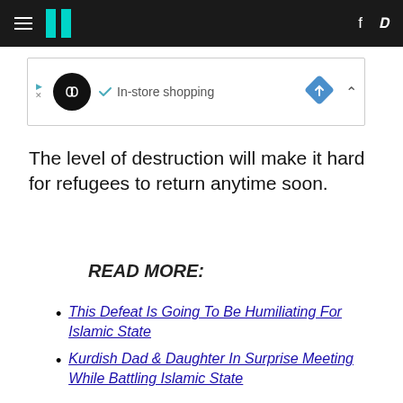HuffPost navigation bar with hamburger menu, logo, Facebook and Twitter icons
[Figure (other): Ad banner showing an infinity-loop logo, checkmark, 'In-store shopping' text, and a blue diamond direction icon]
The level of destruction will make it hard for refugees to return anytime soon.
READ MORE:
This Defeat Is Going To Be Humiliating For Islamic State
Kurdish Dad & Daughter In Surprise Meeting While Battling Islamic State